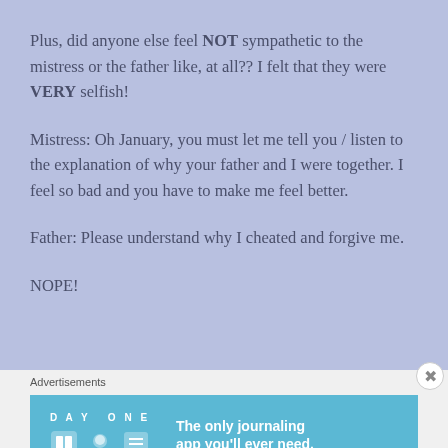Plus, did anyone else feel NOT sympathetic to the mistress or the father like, at all?? I felt that they were VERY selfish!
Mistress: Oh January, you must let me tell you / listen to the explanation of why your father and I were together. I feel so bad and you have to make me feel better.
Father: Please understand why I cheated and forgive me.
NOPE!
Advertisements
[Figure (screenshot): DAY ONE journaling app advertisement banner with icons and text 'The only journaling app you'll ever need.']